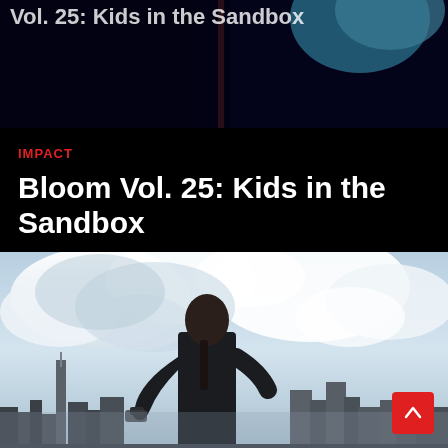[Figure (photo): Top portion of a webpage header image — dark navy/black background with partial text 'Vol. 25: Kids in the Sandbox' visible at top, and a blue mask or banner shape visible at upper right]
IMPACT
Bloom Vol. 25: Kids in the Sandbox
[Figure (photo): A person (seen from behind, with braided hair, wearing a dark jacket) stands facing a city skyline with dramatic cloudy sky. The city appears to be New York City. The person holds a face mask in their left hand. A red scroll-to-top button is overlaid at bottom right.]